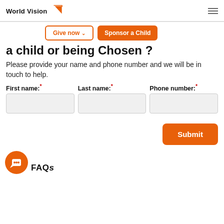World Vision — navigation header with Give now and Sponsor a Child buttons
a child or being Chosen ?
Please provide your name and phone number and we will be in touch to help.
First name: * | Last name: * | Phone number: *
Submit
FAQs